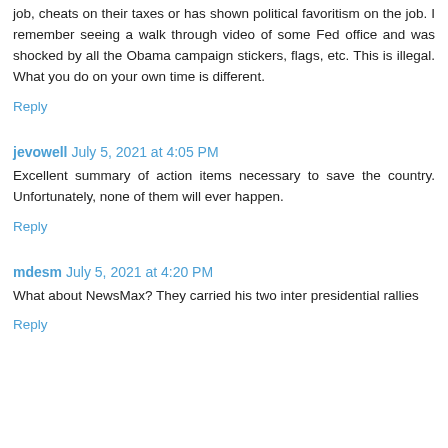job, cheats on their taxes or has shown political favoritism on the job. I remember seeing a walk through video of some Fed office and was shocked by all the Obama campaign stickers, flags, etc. This is illegal. What you do on your own time is different.
Reply
jevowell  July 5, 2021 at 4:05 PM
Excellent summary of action items necessary to save the country. Unfortunately, none of them will ever happen.
Reply
mdesm  July 5, 2021 at 4:20 PM
What about NewsMax? They carried his two inter presidential rallies
Reply